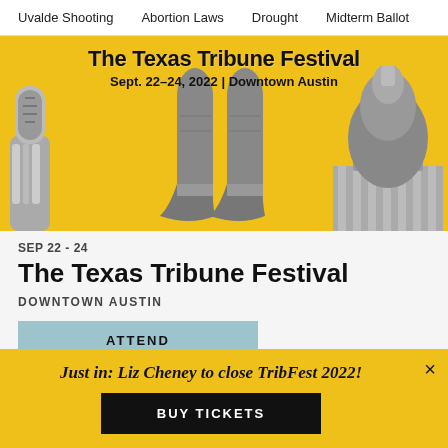Uvalde Shooting | Abortion Laws | Drought | Midterm Ballot
[Figure (illustration): Texas Tribune Festival banner with yellow background, microphone hand on left, cowboy boots in center, Texas Capitol dome on right. Text: 'The Texas Tribune Festival, Sept. 22-24, 2022 | Downtown Austin']
SEP 22 - 24
The Texas Tribune Festival
DOWNTOWN AUSTIN
ATTEND
Just in: Liz Cheney to close TribFest 2022!
BUY TICKETS